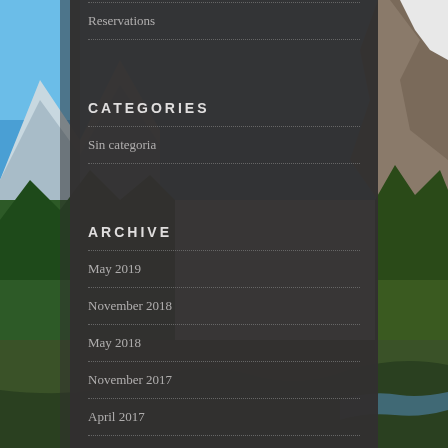[Figure (photo): Mountain landscape background with blue sky, snow-capped peaks on the left, rocky cliffs on the right, and autumn-colored forest in the valley below.]
Reservations
CATEGORIES
Sin categoria
ARCHIVE
May 2019
November 2018
May 2018
November 2017
April 2017
October 2016